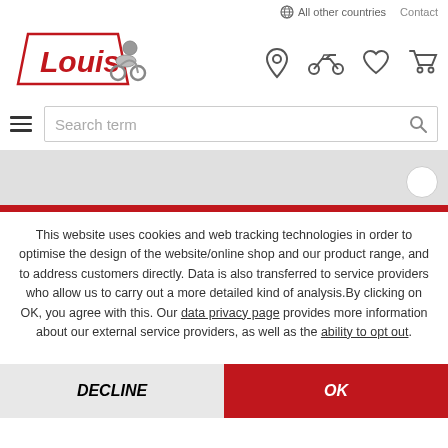All other countries   Contact
[Figure (logo): Louis motorcycle brand logo with rider illustration]
[Figure (infographic): Navigation icons: location pin, motorcycle, heart/wishlist, shopping cart]
[Figure (screenshot): Search bar with hamburger menu and search term placeholder]
[Figure (screenshot): Gray banner area with red stripe at bottom and partial circle button]
This website uses cookies and web tracking technologies in order to optimise the design of the website/online shop and our product range, and to address customers directly. Data is also transferred to service providers who allow us to carry out a more detailed kind of analysis. By clicking on OK, you agree with this. Our data privacy page provides more information about our external service providers, as well as the ability to opt out.
DECLINE
OK